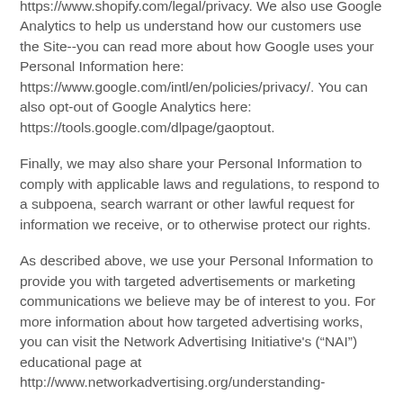https://www.shopify.com/legal/privacy. We also use Google Analytics to help us understand how our customers use the Site--you can read more about how Google uses your Personal Information here: https://www.google.com/intl/en/policies/privacy/. You can also opt-out of Google Analytics here: https://tools.google.com/dlpage/gaoptout.
Finally, we may also share your Personal Information to comply with applicable laws and regulations, to respond to a subpoena, search warrant or other lawful request for information we receive, or to otherwise protect our rights.
As described above, we use your Personal Information to provide you with targeted advertisements or marketing communications we believe may be of interest to you. For more information about how targeted advertising works, you can visit the Network Advertising Initiative's (“NAI”) educational page at http://www.networkadvertising.org/understanding-